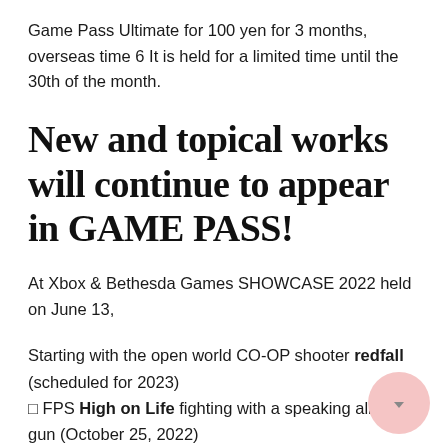Game Pass Ultimate for 100 yen for 3 months, overseas time 6 It is held for a limited time until the 30th of the month.
New and topical works will continue to appear in GAME PASS!
At Xbox & Bethesda Games SHOWCASE 2022 held on June 13,
Starting with the open world CO-OP shooter redfall (scheduled for 2023)
□ FPS High on Life fighting with a speaking alien gun (October 25, 2022)